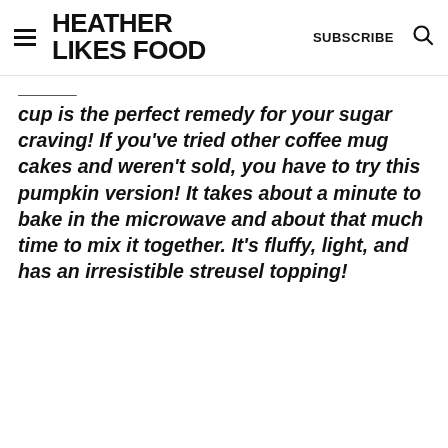HEATHER LIKES FOOD  SUBSCRIBE
cup is the perfect remedy for your sugar craving! If you've tried other coffee mug cakes and weren't sold, you have to try this pumpkin version! It takes about a minute to bake in the microwave and about that much time to mix it together. It's fluffy, light, and has an irresistible streusel topping!